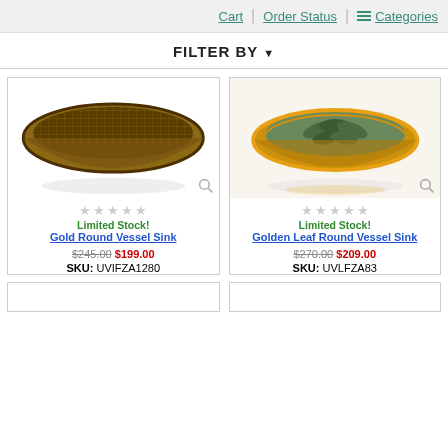Cart | Order Status | Categories
FILTER BY ▼
[Figure (photo): Gold Round Vessel Sink - amber/brown glass bowl-shaped sink with crosshatch pattern, viewed from above at an angle]
Limited Stock!
Gold Round Vessel Sink
$245.00 $199.00
SKU: UVIFZA1280
[Figure (photo): Golden Leaf Round Vessel Sink - amber/gold glass bowl-shaped sink with leaf pattern, viewed from above at an angle]
Limited Stock!
Golden Leaf Round Vessel Sink
$270.00 $209.00
SKU: UVLFZA83